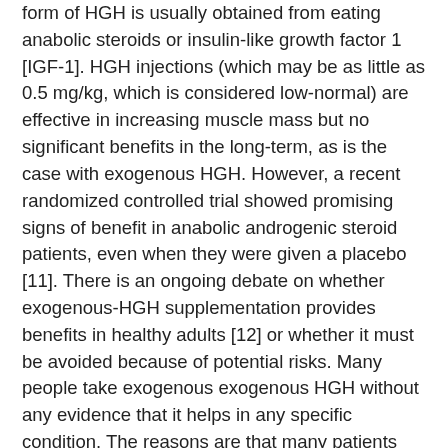form of HGH is usually obtained from eating anabolic steroids or insulin-like growth factor 1 [IGF-1]. HGH injections (which may be as little as 0.5 mg/kg, which is considered low-normal) are effective in increasing muscle mass but no significant benefits in the long-term, as is the case with exogenous HGH. However, a recent randomized controlled trial showed promising signs of benefit in anabolic androgenic steroid patients, even when they were given a placebo [11]. There is an ongoing debate on whether exogenous-HGH supplementation provides benefits in healthy adults [12] or whether it must be avoided because of potential risks. Many people take exogenous exogenous HGH without any evidence that it helps in any specific condition. The reasons are that many patients take exogenous HGH to improve a certain symptom (such as muscle wasting) or are on medication that alters the body's hormone system [13]. Therefore, a